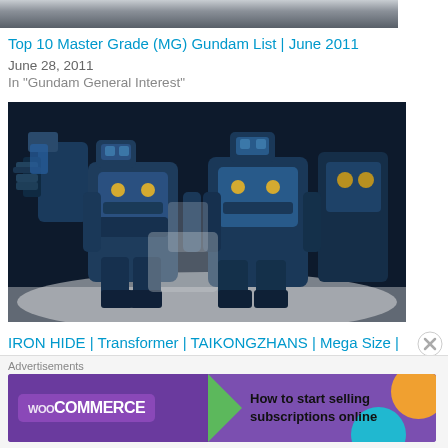[Figure (photo): Partial top of a Gundam model image, cropped at top of page]
Top 10 Master Grade (MG) Gundam List | June 2011
June 28, 2011
In "Gundam General Interest"
[Figure (photo): IRON HIDE Transformer TAIKONGZHANS Mega Size Chinese Knock-Off robot figure in blue/dark colors, photographed against white background]
IRON HIDE | Transformer | TAIKONGZHANS | Mega Size | Chinese Knock-Off
February 17, 2012
Advertisements
[Figure (screenshot): WooCommerce advertisement banner: purple background with WooCommerce logo, green arrow, text 'How to start selling subscriptions online']